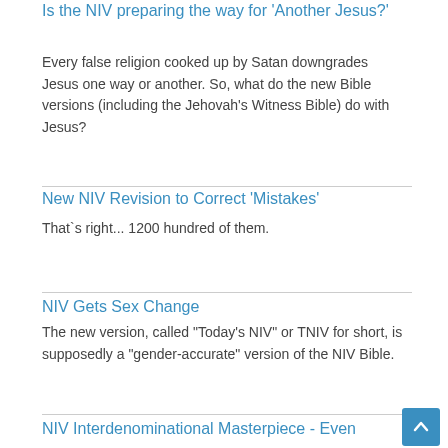Is the NIV preparing the way for 'Another Jesus?'
Every false religion cooked up by Satan downgrades Jesus one way or another. So, what do the new Bible versions (including the Jehovah's Witness Bible) do with Jesus?
New NIV Revision to Correct 'Mistakes'
That`s right... 1200 hundred of them.
NIV Gets Sex Change
The new version, called "Today's NIV" or TNIV for short, is supposedly a "gender-accurate" version of the NIV Bible.
NIV Interdenominational Masterpiece - Even